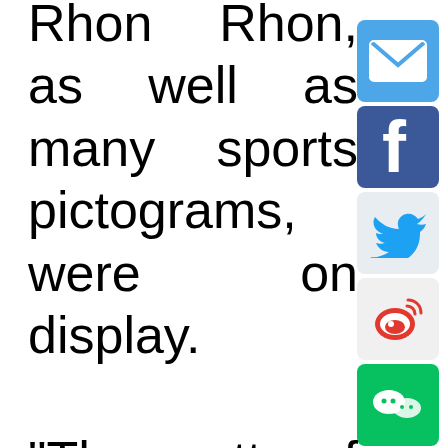Rhon Rhon, as well as many sports pictograms, were on display. "The motto of Beijing 2022 Winter Olympics is 'Together for a Shared Future.' I believe that if we could play together, we could work together!!
[Figure (infographic): Column of social media share icons on the right side: Email (blue envelope), Facebook (blue f), Twitter (blue bird), Weibo (red wifi-like), WeChat (green chat), and a scroll-to-top button (light blue with caret)]